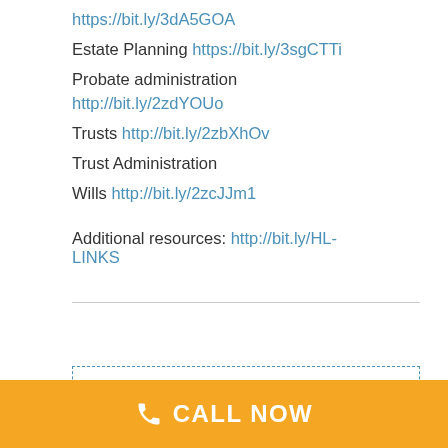https://bit.ly/3dA5GOA
Estate Planning https://bit.ly/3sgCTTi
Probate administration http://bit.ly/2zdYOUo
Trusts http://bit.ly/2zbXhOv
Trust Administration
Wills http://bit.ly/2zcJJm1
Additional resources: http://bit.ly/HL-LINKS
YOU ARE NOT OUR CLIENT UNLESS WE EXECUTE A WRITTEN
CALL NOW